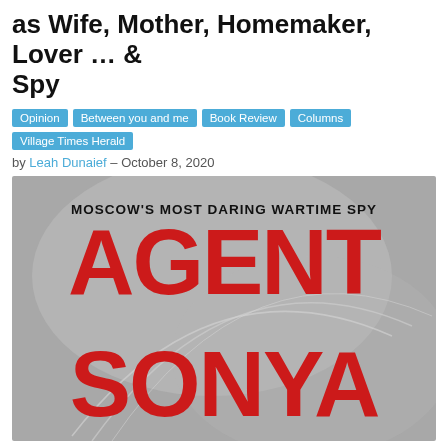as Wife, Mother, Homemaker, Lover … & Spy
Opinion
Between you and me
Book Review
Columns
Village Times Herald
by Leah Dunaief – October 8, 2020
[Figure (photo): Book cover of 'Agent Sonya' – Moscow's Most Daring Wartime Spy, with large red text AGENT SONYA on a grey background]